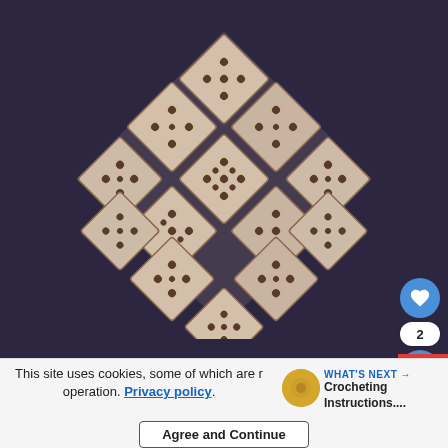[Figure (photo): A crochet or knitted textile arranged in a diamond/square-on-point shape made of multiple granny squares with dot/flower patterns, photographed against a dark purple-blue background. Social interaction buttons (heart/like and share) are overlaid on the right side.]
This site uses cookies, some of which are required for its operation. Privacy policy.
WHAT'S NEXT → Crocheting Instructions....
Agree and Continue